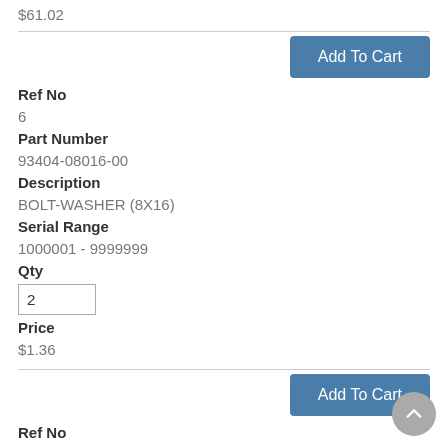$61.02
Add To Cart
Ref No
6
Part Number
93404-08016-00
Description
BOLT-WASHER (8X16)
Serial Range
1000001 - 9999999
Qty
2
Price
$1.36
Add To Cart
Ref No
7
Part Number